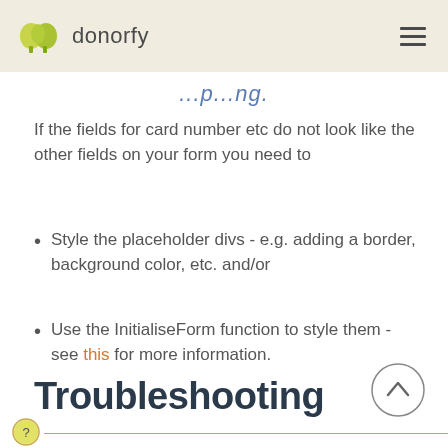donorfy
If the fields for card number etc do not look like the other fields on your form you need to
Style the placeholder divs - e.g. adding a border, background color, etc. and/or
Use the InitialiseForm function to style them - see this for more information.
Troubleshooting